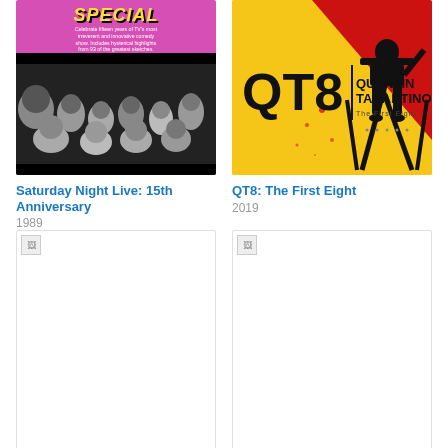[Figure (photo): Saturday Night Live 15th Anniversary Special movie poster - pink/magenta background with yellow stylized text at top and black and white cast photo below]
Saturday Night Live: 15th Anniversary
1989
[Figure (photo): QT8: The First Eight documentary poster - yellow background with red section and dark silhouette figure, bold black text QT8 and Quentin Tarantino]
QT8: The First Eight
2019
[Figure (photo): Movie poster placeholder - broken image icon in white box]
[Figure (photo): Movie poster placeholder - broken image icon in white box]